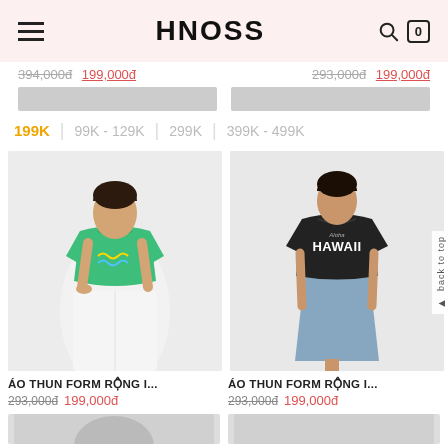HNOSS
394,000đ  199,000đ   293,000đ  199,000đ
199K | 99K - 129K | 299K | 399K - 499K
[Figure (photo): Woman wearing green t-shirt with wave graphic and white wide-leg pants on light gray background]
[Figure (photo): Woman wearing black Hawaii graphic t-shirt with light blue midi skirt on gray background]
ÁO THUN FORM RỘNG I...
293,000đ  199,000đ
ÁO THUN FORM RỘNG I...
293,000đ  199,000đ